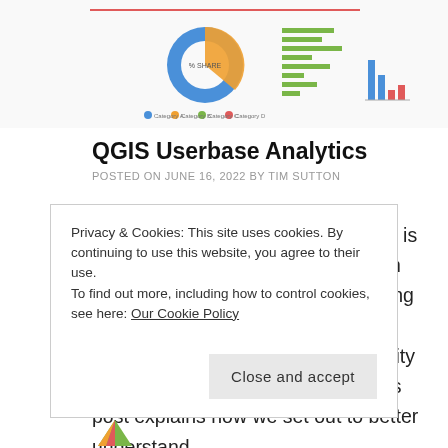[Figure (screenshot): Dashboard screenshot showing a donut chart, bar charts, and a column chart with analytics data]
QGIS Userbase Analytics
POSTED ON JUNE 16, 2022 BY TIM SUTTON
Understanding which regions QGIS is being used in, which versions are in active use, which platforms it is being used on, and how many users we have is hugely beneficial to our ability as a project to serve our users. This post explains how we set out to better understand
Privacy & Cookies: This site uses cookies. By continuing to use this website, you agree to their use.
To find out more, including how to control cookies, see here: Our Cookie Policy
Close and accept